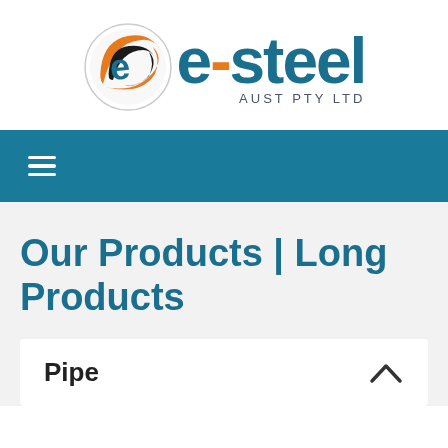[Figure (logo): e-Steel Aust Pty Ltd logo with circular icon containing orange and dark swooshes on left and bold teal 'e-steel' text with 'AUST PTY LTD' subtitle on right]
≡
Our Products | Long Products
Pipe